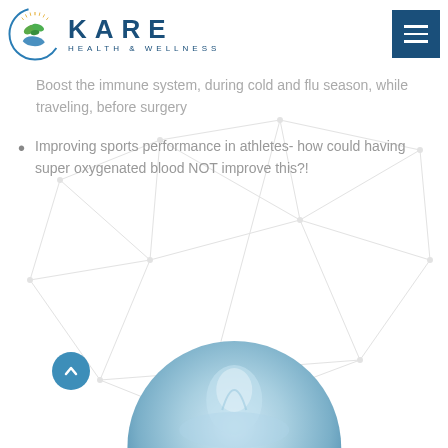KARE HEALTH & WELLNESS
Boost the immune system, during cold and flu season, while traveling, before surgery
Improving sports performance in athletes- how could having super oxygenated blood NOT improve this?!
[Figure (photo): Close-up circular photo of what appears to be a water droplet or medical/wellness related liquid image at the bottom of the page]
[Figure (other): Geometric network/mesh background graphic with connected nodes and lines in light gray]